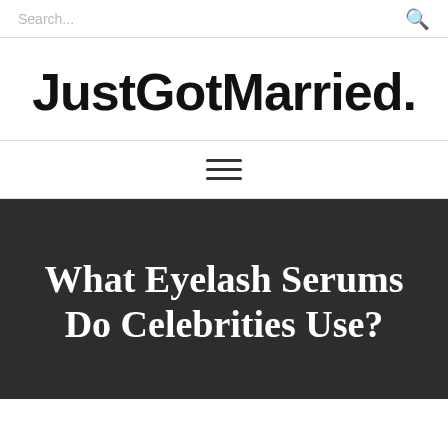Search...
JustGotMarried.
≡ (hamburger menu)
What Eyelash Serums Do Celebrities Use?